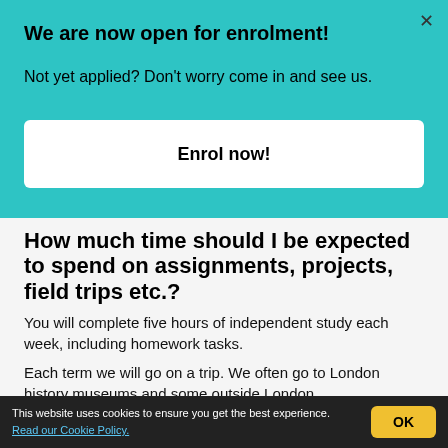We are now open for enrolment!
Not yet applied? Don't worry come in and see us.
Enrol now!
How much time should I be expected to spend on assignments, projects, field trips etc.?
You will complete five hours of independent study each week, including homework tasks.
Each term we will go on a trip. We often go to London history museums and some outside London.
This website uses cookies to ensure you get the best experience. Read our Cookie Policy.